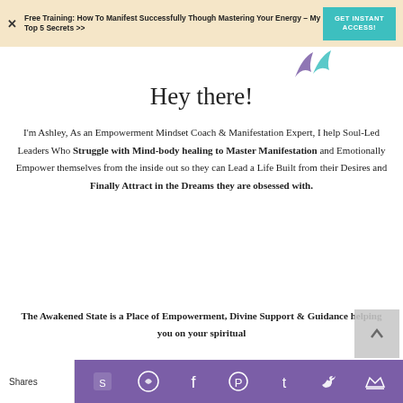Free Training: How To Manifest Successfully Though Mastering Your Energy – My Top 5 Secrets >> | GET INSTANT ACCESS!
[Figure (illustration): Two small decorative arrow/leaf icons in teal/purple colors]
Hey there!
I'm Ashley, As an Empowerment Mindset Coach & Manifestation Expert, I help Soul-Led Leaders Who Struggle with Mind-body healing to Master Manifestation and Emotionally Empower themselves from the inside out so they can Lead a Life Built from their Desires and Finally Attract in the Dreams they are obsessed with.
The Awakened State is a Place of Empowerment, Divine Support & Guidance helping you on your spiritual
Shares | social share icons (SumoMe, WhatsApp, Facebook, Pinterest, Tumblr, Twitter, crown icon)